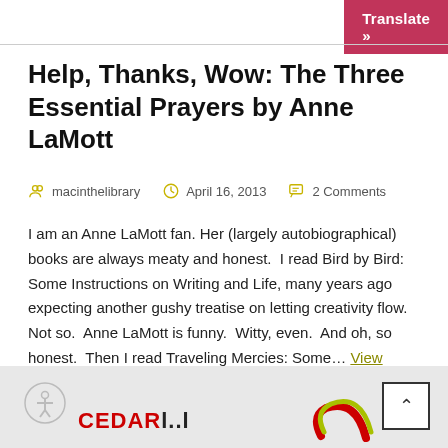Translate »
Help, Thanks, Wow: The Three Essential Prayers by Anne LaMott
macinthelibrary   April 16, 2013   2 Comments
I am an Anne LaMott fan. Her (largely autobiographical) books are always meaty and honest.  I read Bird by Bird:  Some Instructions on Writing and Life, many years ago expecting another gushy treatise on letting creativity flow.  Not so.  Anne LaMott is funny.  Witty, even.  And oh, so honest.  Then I read Traveling Mercies: Some… View more
[Figure (logo): Cedar library logo (CEDAR in red block letters) in the footer]
[Figure (illustration): Colorful swirl/swoosh logo in footer, red and yellow-green colors]